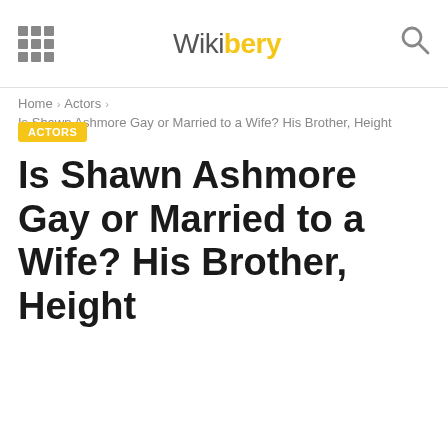Wikibery
Home › Actors › Is Shawn Ashmore Gay or Married to a Wife? His Brother, Height
ACTORS
Is Shawn Ashmore Gay or Married to a Wife? His Brother, Height